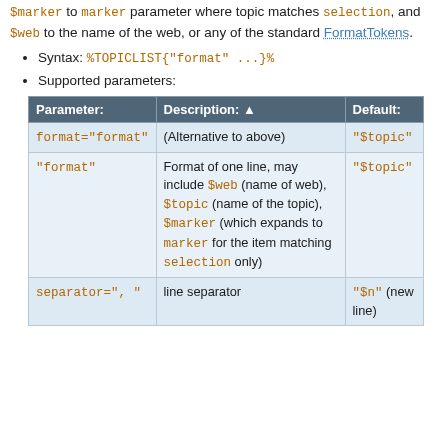$marker to marker parameter where topic matches selection, and $web to the name of the web, or any of the standard FormatTokens.
Syntax: %TOPICLIST{"format" ...}%
Supported parameters:
| Parameter: | Description: | Default: |
| --- | --- | --- |
| format="format" | (Alternative to above) | "$topic" |
| "format" | Format of one line, may include $web (name of web), $topic (name of the topic), $marker (which expands to marker for the item matching selection only) | "$topic" |
| separator=", " | line separator | "$n" (new line) |